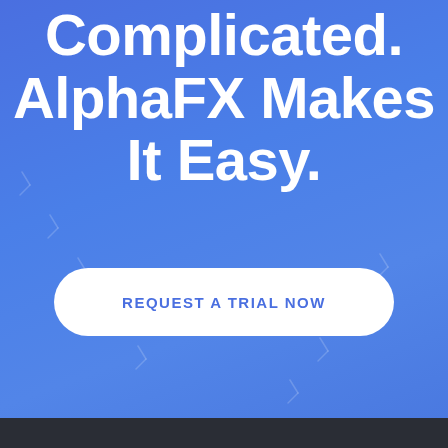Complicated. AlphaFX Makes It Easy.
REQUEST A TRIAL NOW
[Figure (other): Dark footer bar at the bottom of the page]